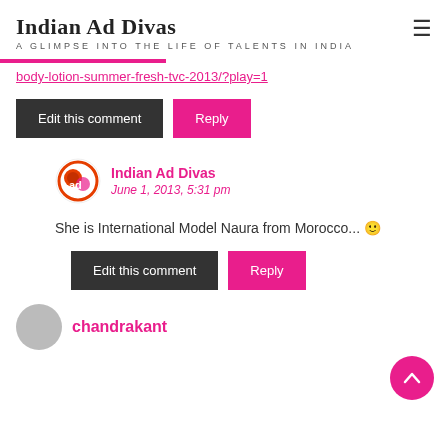Indian Ad Divas
A GLIMPSE INTO THE LIFE OF TALENTS IN INDIA
body-lotion-summer-fresh-tvc-2013/?play=1
Edit this comment   Reply
Indian Ad Divas
June 1, 2013, 5:31 pm
She is International Model Naura from Morocco... 🙂
Edit this comment   Reply
chandrakant